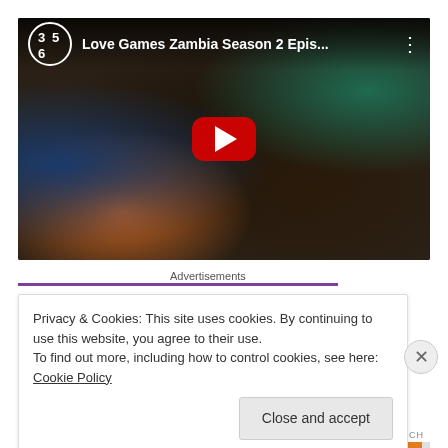[Figure (screenshot): YouTube video thumbnail for 'Love Games Zambia Season 2 Epis...' showing a group of people at a party/event, with a red YouTube play button in the center. Channel logo (365) in top left corner.]
Advertisements
Privacy & Cookies: This site uses cookies. By continuing to use this website, you agree to their use.
To find out more, including how to control cookies, see here: Cookie Policy
Close and accept